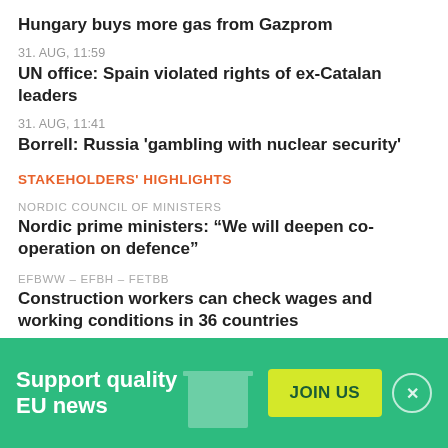Hungary buys more gas from Gazprom
31. AUG, 11:59
UN office: Spain violated rights of ex-Catalan leaders
31. AUG, 11:41
Borrell: Russia 'gambling with nuclear security'
STAKEHOLDERS' HIGHLIGHTS
NORDIC COUNCIL OF MINISTERS
Nordic prime ministers: “We will deepen co-operation on defence”
EFBWW – EFBH – FETBB
Construction workers can check wages and working conditions in 36 countries
Support quality EU news